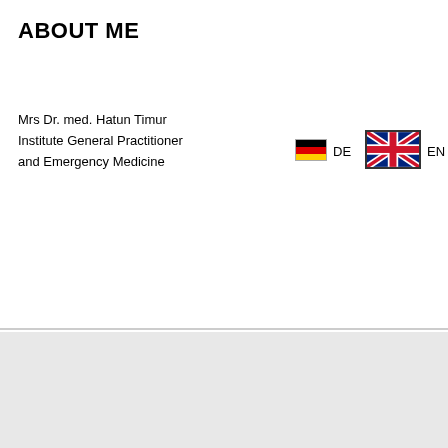ABOUT ME
Mrs Dr. med. Hatun Timur
Institute General Practitioner
and Emergency Medicine
[Figure (illustration): German flag icon]
DE
[Figure (illustration): UK flag icon]
EN    TU
HOME
ABOUT ME
TEAM
Mrs. Dr. med. Hatun Timur
PROFESSIONAL BACK...